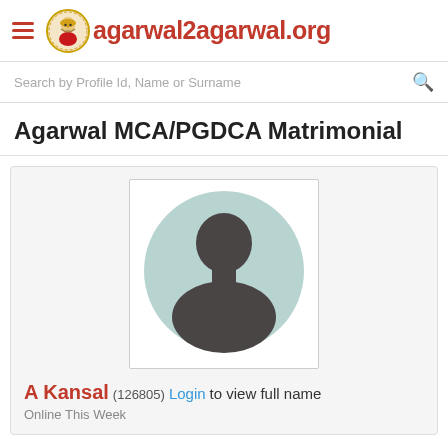agarwal2agarwal.org
Search by Profile Id, Name or Surname
Agarwal MCA/PGDCA Matrimonial
[Figure (photo): Default male silhouette avatar placeholder image inside a card]
A Kansal (126805) Login to view full name
Online This Week